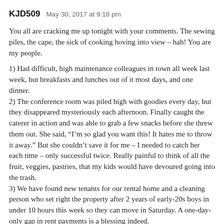KJD509   May 30, 2017 at 9:18 pm
You all are cracking me up tonight with your comments. The sewing piles, the cape, the sick of cooking hoving into view – hah! You are my people.
1) Had difficult, high maintenance colleagues in town all week last week, but breakfasts and lunches out of it most days, and one dinner.
2) The conference room was piled high with goodies every day, but they disappeared mysteriously each afternoon. Finally caught the caterer in action and was able to grab a few snacks before she threw them out. She said, "I'm so glad you want this! It hates me to throw it away." But she couldn't save it for me – I needed to catch her each time – only successful twice. Really painful to think of all the fruit, veggies, pastries, that my kids would have devoured going into the trash.
3) We have found new tenants for our rental home and a cleaning person who set right the property after 2 years of early-20s boys in under 10 hours this week so they can move in Saturday. A one-day-only gap in rent payments is a blessing indeed.
4) The grocery budget was really seriously zeroed out for the month by Friday, a few needs, including cat food, and a few wants, including on-sale potato chips for Memorial Day picnic. Paid with coins dug out of the change jar, which don't count in the budget.